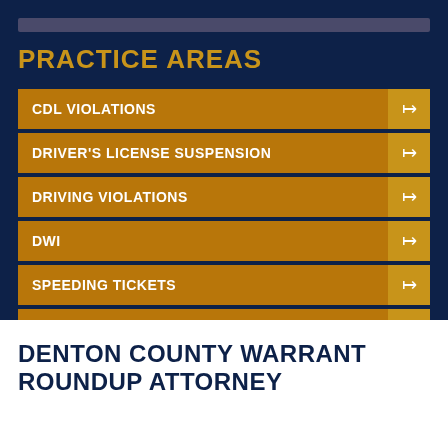PRACTICE AREAS
CDL VIOLATIONS
DRIVER'S LICENSE SUSPENSION
DRIVING VIOLATIONS
DWI
SPEEDING TICKETS
TRAFFIC WARRANTS
DENTON COUNTY WARRANT ROUNDUP ATTORNEY